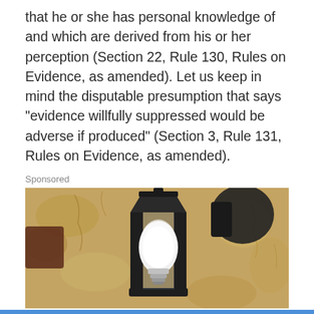that he or she has personal knowledge of and which are derived from his or her perception (Section 22, Rule 130, Rules on Evidence, as amended). Let us keep in mind the disputable presumption that says "evidence willfully suppressed would be adverse if produced" (Section 3, Rule 131, Rules on Evidence, as amended).
Sponsored
[Figure (photo): A close-up photograph of a black metal outdoor wall lantern with a white light bulb visible inside, mounted against a textured sandy/stucco wall. The lantern has glass panels and a dark metal frame.]